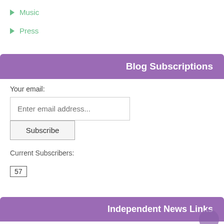Music
Press
Blog Subscriptions
Your email:
Enter email address...
Subscribe
Current Subscribers:
57
Independent News Links
TheFreeThoughtProject